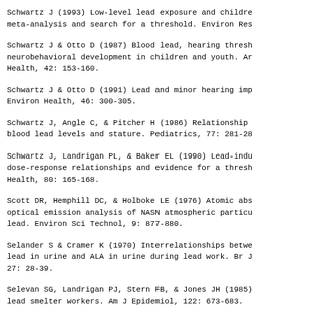Schwartz J (1993) Low-level lead exposure and childre meta-analysis and search for a threshold. Environ Res
Schwartz J & Otto D (1987) Blood lead, hearing thresh neurobehavioral development in children and youth. Ar Health, 42: 153-160.
Schwartz J & Otto D (1991) Lead and minor hearing imp Environ Health, 46: 300-305.
Schwartz J, Angle C, & Pitcher H (1986) Relationship blood lead levels and stature. Pediatrics, 77: 281-28
Schwartz J, Landrigan PL, & Baker EL (1990) Lead-indu dose-response relationships and evidence for a thresh Health, 80: 165-168.
Scott DR, Hemphill DC, & Holboke LE (1976) Atomic abs optical emission analysis of NASN atmospheric particu lead. Environ Sci Technol, 9: 877-880.
Selander S & Cramer K (1970) Interrelationships betwe lead in urine and ALA in urine during lead work. Br J 27: 28-39.
Selevan SG, Landrigan PJ, Stern FB, & Jones JH (1985 lead smelter workers. Am J Epidemiol, 122: 673-683.
Selevan SG, Landrigan PJ, Stern FB, & Jones JH (1988 A study with a text that is cut off at the bottom.